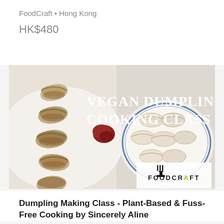FoodCraft • Hong Kong
HK$480
[Figure (photo): Promotional image for Vegan Dumpling Cooking Class by FoodCraft. Left side shows pan-fried dumplings on a white plate with red chili sauce. Right side shows steamed dumplings on a blue and white plate. White text overlay reads 'VEGAN DUMPLING COOKING CLASS'. FoodCraft logo in bottom right.]
Dumpling Making Class - Plant-Based & Fuss-Free Cooking by Sincerely Aline